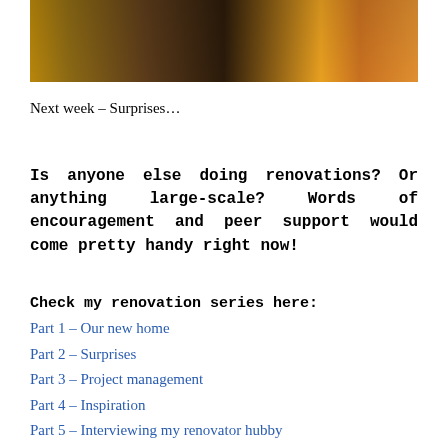[Figure (photo): Interior room photo showing wooden furniture/cabinets on the left, a white radiator in the center-background, dark red/brown floor, and orange curtain/door on the right with natural light coming in.]
Next week – Surprises…
Is anyone else doing renovations? Or anything large-scale? Words of encouragement and peer support would come pretty handy right now!
Check my renovation series here:
Part 1 – Our new home
Part 2 – Surprises
Part 3 – Project management
Part 4 – Inspiration
Part 5 – Interviewing my renovator hubby
Part 6 – Near the finishing line